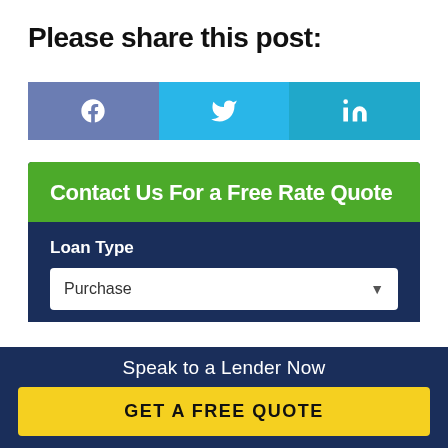Please share this post:
[Figure (infographic): Three social media share buttons: Facebook (purple-blue), Twitter (light blue), LinkedIn (blue-green), each with their respective icons in white]
Contact Us For a Free Rate Quote
Loan Type
Purchase
Speak to a Lender Now
GET A FREE QUOTE